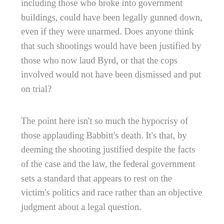including those who broke into government buildings, could have been legally gunned down, even if they were unarmed. Does anyone think that such shootings would have been justified by those who now laud Byrd, or that the cops involved would not have been dismissed and put on trial?
The point here isn't so much the hypocrisy of those applauding Babbitt's death. It's that, by deeming the shooting justified despite the facts of the case and the law, the federal government sets a standard that appears to rest on the victim's politics and race rather than an objective judgment about a legal question.